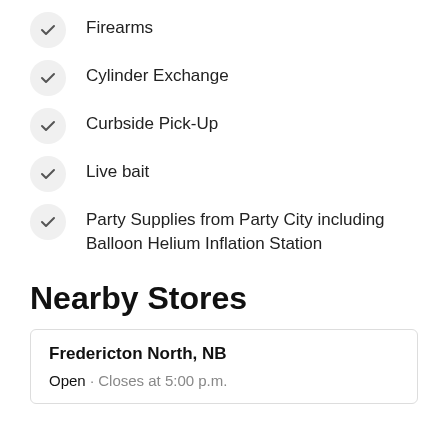Firearms
Cylinder Exchange
Curbside Pick-Up
Live bait
Party Supplies from Party City including Balloon Helium Inflation Station
Nearby Stores
Fredericton North, NB
Open · Closes at 5:00 p.m.